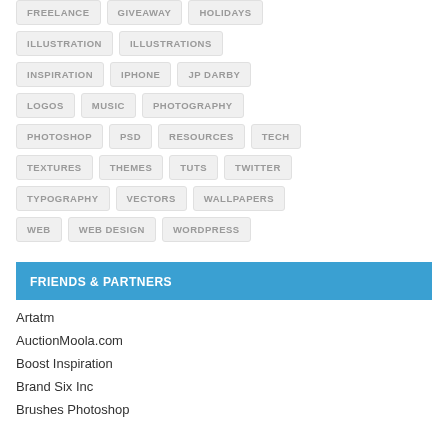FREELANCE
GIVEAWAY
HOLIDAYS
ILLUSTRATION
ILLUSTRATIONS
INSPIRATION
IPHONE
JP DARBY
LOGOS
MUSIC
PHOTOGRAPHY
PHOTOSHOP
PSD
RESOURCES
TECH
TEXTURES
THEMES
TUTS
TWITTER
TYPOGRAPHY
VECTORS
WALLPAPERS
WEB
WEB DESIGN
WORDPRESS
FRIENDS & PARTNERS
Artatm
AuctionMoola.com
Boost Inspiration
Brand Six Inc
Brushes Photoshop